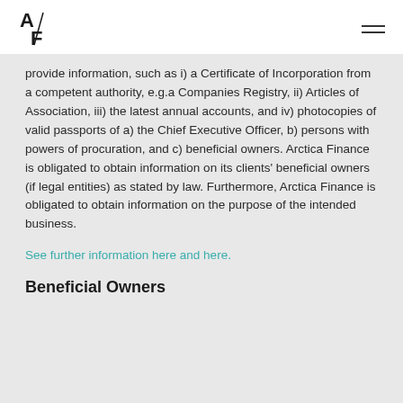A/F logo and navigation
provide information, such as i) a Certificate of Incorporation from a competent authority, e.g.a Companies Registry, ii) Articles of Association, iii) the latest annual accounts, and iv) photocopies of valid passports of a) the Chief Executive Officer, b) persons with powers of procuration, and c) beneficial owners. Arctica Finance is obligated to obtain information on its clients' beneficial owners (if legal entities) as stated by law. Furthermore, Arctica Finance is obligated to obtain information on the purpose of the intended business.
See further information here and here.
Beneficial Owners